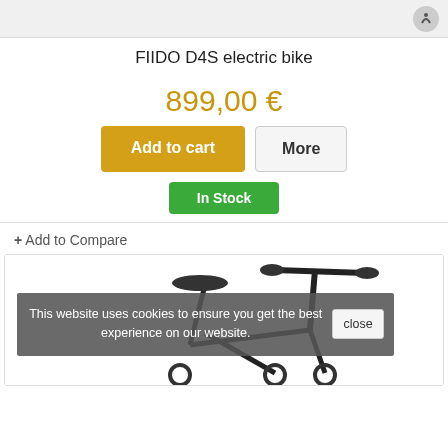[Figure (screenshot): Top image bar with light gray background and a circular icon on the right]
FIIDO D4S electric bike
899,00 €
Add to cart
More
In Stock
+ Add to Compare
[Figure (photo): FIIDO D4S electric bike product image showing handlebars and seat, with a cookie consent overlay reading: This website uses cookies to ensure you get the best experience on our website. close button on right.]